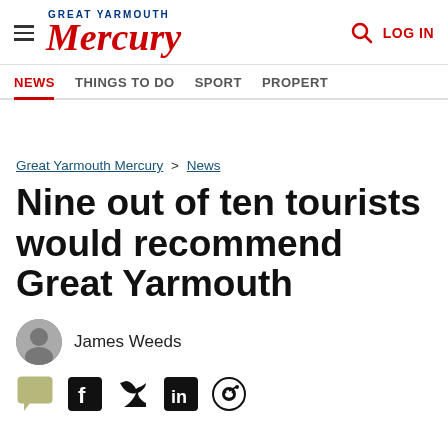Great Yarmouth Mercury | LOG IN
NEWS  THINGS TO DO  SPORT  PROPERTY
Great Yarmouth Mercury > News
Nine out of ten tourists would recommend Great Yarmouth
James Weeds